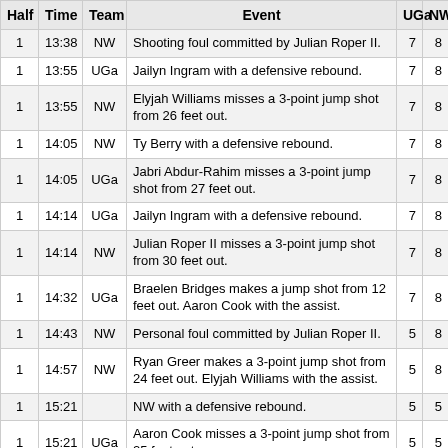| Half | Time | Team | Event | UGa | NW |
| --- | --- | --- | --- | --- | --- |
| 1 | 13:38 | NW | Shooting foul committed by Julian Roper II. | 7 | 8 |
| 1 | 13:55 | UGa | Jailyn Ingram with a defensive rebound. | 7 | 8 |
| 1 | 13:55 | NW | Elyjah Williams misses a 3-point jump shot from 26 feet out. | 7 | 8 |
| 1 | 14:05 | NW | Ty Berry with a defensive rebound. | 7 | 8 |
| 1 | 14:05 | UGa | Jabri Abdur-Rahim misses a 3-point jump shot from 27 feet out. | 7 | 8 |
| 1 | 14:14 | UGa | Jailyn Ingram with a defensive rebound. | 7 | 8 |
| 1 | 14:14 | NW | Julian Roper II misses a 3-point jump shot from 30 feet out. | 7 | 8 |
| 1 | 14:32 | UGa | Braelen Bridges makes a jump shot from 12 feet out. Aaron Cook with the assist. | 7 | 8 |
| 1 | 14:43 | NW | Personal foul committed by Julian Roper II. | 5 | 8 |
| 1 | 14:57 | NW | Ryan Greer makes a 3-point jump shot from 24 feet out. Elyjah Williams with the assist. | 5 | 8 |
| 1 | 15:21 |  | NW with a defensive rebound. | 5 | 5 |
| 1 | 15:21 | UGa | Aaron Cook misses a 3-point jump shot from 25 feet out. | 5 | 5 |
| 1 |  |  | Ty Berry makes a 3-point jump shot from 27 feet... |  |  |